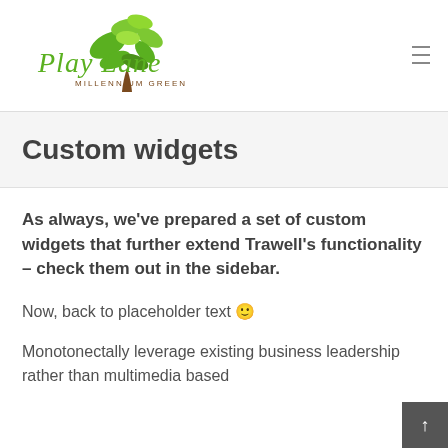[Figure (logo): Play Lane Millennium Green logo with green tree and stylized script text]
Custom widgets
As always, we've prepared a set of custom widgets that further extend Trawell's functionality – check them out in the sidebar.
Now, back to placeholder text 🙂
Monotonectally leverage existing business leadership rather than multimedia based